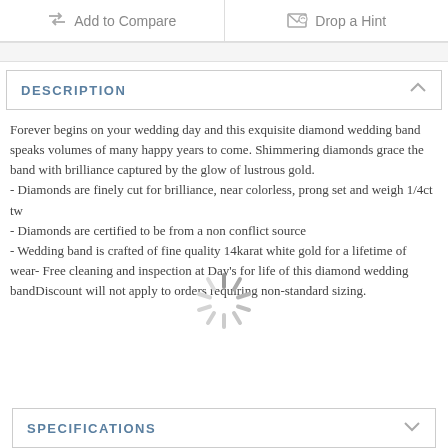Add to Compare
Drop a Hint
DESCRIPTION
Forever begins on your wedding day and this exquisite diamond wedding band speaks volumes of many happy years to come. Shimmering diamonds grace the band with brilliance captured by the glow of lustrous gold.
- Diamonds are finely cut for brilliance, near colorless, prong set and weigh 1/4ct tw
- Diamonds are certified to be from a non conflict source
- Wedding band is crafted of fine quality 14karat white gold for a lifetime of wear- Free cleaning and inspection at Day's for life of this diamond wedding bandDiscount will not apply to orders requiring non-standard sizing.
SPECIFICATIONS